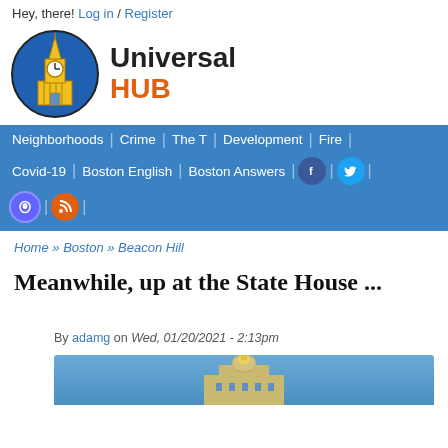Hey, there! Log in / Register
[Figure (logo): Universal Hub logo: yellow clock tower building inside a blue circle, with 'Universal HUB' text beside it]
Neighborhoods | Crime | The T | Development | Fire | Covid-19 | Boston English | Boston Answers | Facebook | Twitter | Mastodon | RSS
Home » Boston » Beacon Hill
Meanwhile, up at the State House ...
By adamg on Wed, 01/20/2021 - 2:13pm
[Figure (photo): Photo of the State House dome/building, partially visible at the bottom of the page]